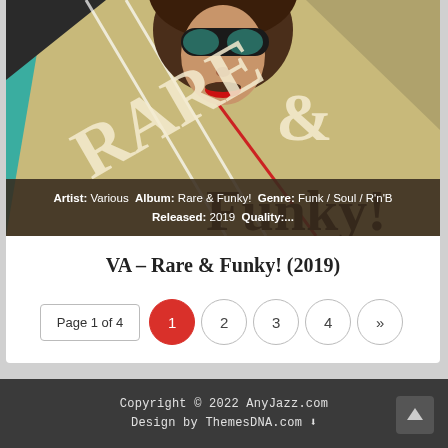[Figure (illustration): Album cover artwork for Rare & Funky! showing a stylized retro illustration of a person with sunglasses and red lips, with the text RARE & Funky! in large decorative letters on a teal and tan background]
Artist: Various  Album: Rare & Funky!  Genre: Funk / Soul / R'n'B  Released: 2019  Quality:...
VA – Rare & Funky! (2019)
Page 1 of 4  1  2  3  4  »
Copyright © 2022 AnyJazz.com
Design by ThemesDNA.com